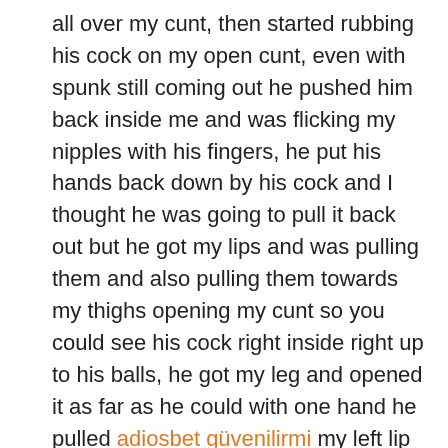all over my cunt, then started rubbing his cock on my open cunt, even with spunk still coming out he pushed him back inside me and was flicking my nipples with his fingers, he put his hands back down by his cock and I thought he was going to pull it back out but he got my lips and was pulling them and also pulling them towards my thighs opening my cunt so you could see his cock right inside right up to his balls, he got my leg and opened it as far as he could with one hand he pulled adiosbet güvenilirmi my left lip right up over my thigh as far as he could, a few times my lips slipped out of fingers he kept on until he had a good hold, then with his other hand he pushed two fingers into my fanny on top of his cock, he was pushing them in as far as he could and it looked like he was trying to open me up more, after a few